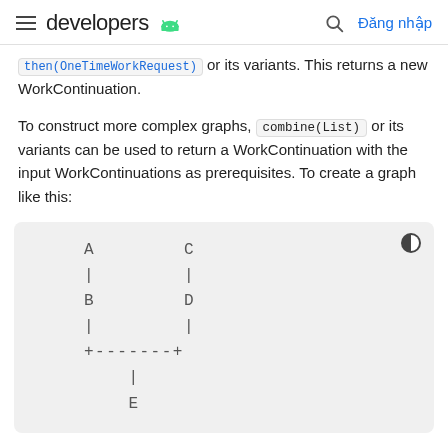developers [android logo] | [search] Đăng nhập
then(OneTimeWorkRequest) or its variants. This returns a new WorkContinuation.
To construct more complex graphs, combine(List) or its variants can be used to return a WorkContinuation with the input WorkContinuations as prerequisites. To create a graph like this:
[Figure (flowchart): ASCII-art flowchart showing nodes A and C at top, with A connecting down to B, C connecting down to D, then B and D joining at a '+-------+' merge point, flowing down to E at the bottom.]